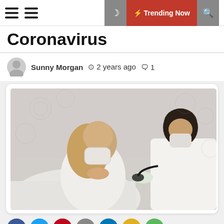Coronavirus — Trending Now
Coronavirus
Sunny Morgan  ⊙ 2 years ago  💬 1
[Figure (photo): A doctor wearing a white coat, gloves, and face mask uses a stethoscope to examine a female patient who is sitting in bed wearing a face mask, hands at her chest. Decorative floral wallpaper in background.]
Social share buttons: Facebook, Twitter, Pinterest, Email, LinkedIn, Share, More